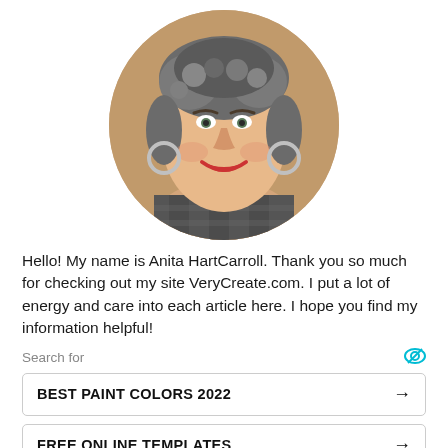[Figure (photo): Circular cropped profile photo of a woman with curly gray-streaked dark hair, smiling, wearing hoop earrings and a plaid shirt]
Hello! My name is Anita HartCarroll. Thank you so much for checking out my site VeryCreate.com. I put a lot of energy and care into each article here. I hope you find my information helpful!
Search for
BEST PAINT COLORS 2022 →
FREE ONLINE TEMPLATES →